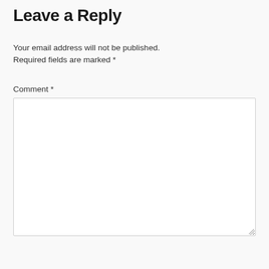Leave a Reply
Your email address will not be published.
Required fields are marked *
Comment *